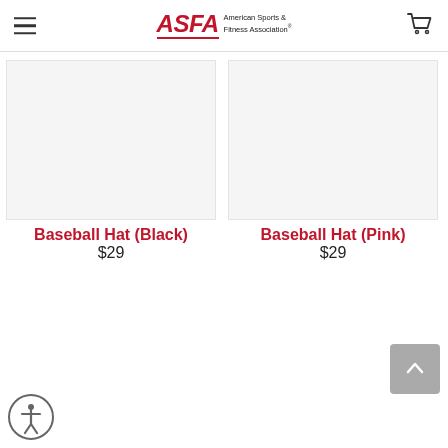ASFA American Sports & Fitness Association
[Figure (photo): Product image placeholder for Baseball Hat (Black)]
Baseball Hat (Black)
$29
[Figure (photo): Product image placeholder for Baseball Hat (Pink)]
Baseball Hat (Pink)
$29
[Figure (illustration): Scroll-to-top arrow button (grey rounded square with upward arrow)]
[Figure (illustration): Accessibility icon (circular badge with person figure)]